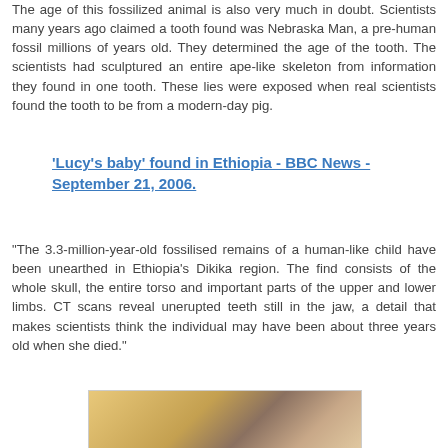The age of this fossilized animal is also very much in doubt. Scientists many years ago claimed a tooth found was Nebraska Man, a pre-human fossil millions of years old. They determined the age of the tooth. The scientists had sculptured an entire ape-like skeleton from information they found in one tooth. These lies were exposed when real scientists found the tooth to be from a modern-day pig.
'Lucy's baby' found in Ethiopia - BBC News - September 21, 2006.
"The 3.3-million-year-old fossilised remains of a human-like child have been unearthed in Ethiopia's Dikika region. The find consists of the whole skull, the entire torso and important parts of the upper and lower limbs. CT scans reveal unerupted teeth still in the jaw, a detail that makes scientists think the individual may have been about three years old when she died."
[Figure (photo): Photograph showing what appears to be fossil remains or a skull being examined, with a warm yellowish/brown background and hands visible.]